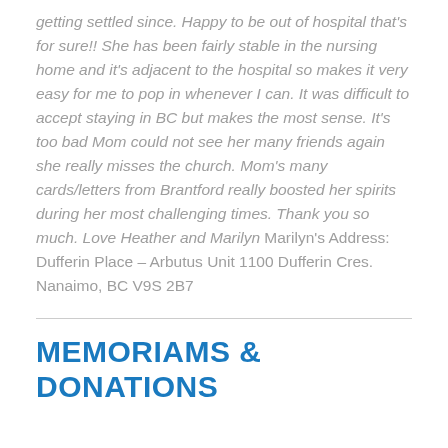getting settled since. Happy to be out of hospital that's for sure!! She has been fairly stable in the nursing home and it's adjacent to the hospital so makes it very easy for me to pop in whenever I can. It was difficult to accept staying in BC but makes the most sense. It's too bad Mom could not see her many friends again she really misses the church. Mom's many cards/letters from Brantford really boosted her spirits during her most challenging times. Thank you so much. Love Heather and Marilyn Marilyn's Address: Dufferin Place – Arbutus Unit 1100 Dufferin Cres. Nanaimo, BC V9S 2B7
MEMORIAMS & DONATIONS